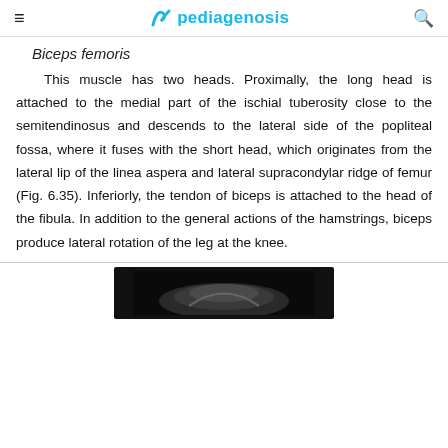pediagenosis
Biceps femoris
This muscle has two heads. Proximally, the long head is attached to the medial part of the ischial tuberosity close to the semitendinosus and descends to the lateral side of the popliteal fossa, where it fuses with the short head, which originates from the lateral lip of the linea aspera and lateral supracondylar ridge of femur (Fig. 6.35). Inferiorly, the tendon of biceps is attached to the head of the fibula. In addition to the general actions of the hamstrings, biceps produce lateral rotation of the leg at the knee.
[Figure (photo): Bottom portion of a medical/anatomical photograph on dark background, partially visible at page bottom.]